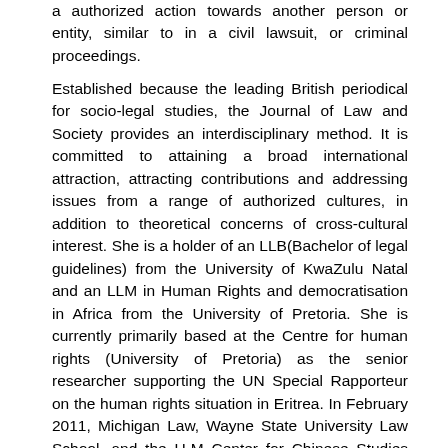a authorized action towards another person or entity, similar to in a civil lawsuit, or criminal proceedings.
Established because the leading British periodical for socio-legal studies, the Journal of Law and Society provides an interdisciplinary method. It is committed to attaining a broad international attraction, attracting contributions and addressing issues from a range of authorized cultures, in addition to theoretical concerns of cross-cultural interest. She is a holder of an LLB(Bachelor of legal guidelines) from the University of KwaZulu Natal and an LLM in Human Rights and democratisation in Africa from the University of Pretoria. She is currently primarily based at the Centre for human rights (University of Pretoria) as the senior researcher supporting the UN Special Rapporteur on the human rights situation in Eritrea. In February 2011, Michigan Law, Wayne State University Law School, and the U-M Center for Chinese Studies hosted the U.S.-China Economic Law Conference in Detroit.